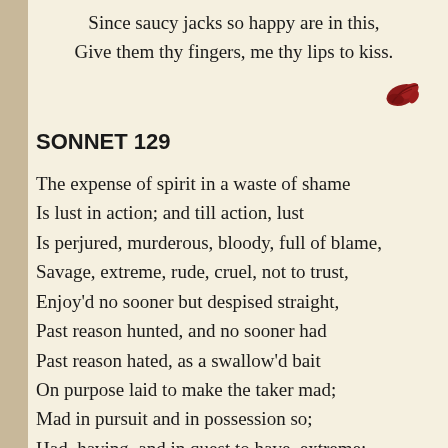Since saucy jacks so happy are in this,
Give them thy fingers, me thy lips to kiss.
[Figure (illustration): Small decorative red floral/leaf ornament]
SONNET 129
The expense of spirit in a waste of shame
Is lust in action; and till action, lust
Is perjured, murderous, bloody, full of blame,
Savage, extreme, rude, cruel, not to trust,
Enjoy'd no sooner but despised straight,
Past reason hunted, and no sooner had
Past reason hated, as a swallow'd bait
On purpose laid to make the taker mad;
Mad in pursuit and in possession so;
Had, having, and in quest to have, extreme;
A bliss in proof, and proved, a very woe;
Before, a joy proposed; behind, a dream.
    All this the world well knows; yet none knows w
    To shun the heaven that leads men to this hell